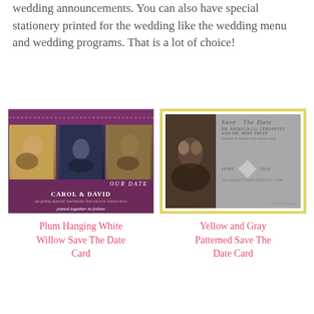wedding announcements. You can also have special stationery printed for the wedding like the wedding menu and wedding programs. That is a lot of choice!
[Figure (photo): Plum Hanging White Willow Save The Date Card — a purple card with three couple photos, decorative top border, and 'Carol & David' names in white text]
Plum Hanging White Willow Save The Date Card
[Figure (photo): Yellow and Gray Patterned Save The Date Card — a gray card with yellow border, couple photo on left, 'Save The Date' text and date details on right]
Yellow and Gray Patterned Save The Date Card